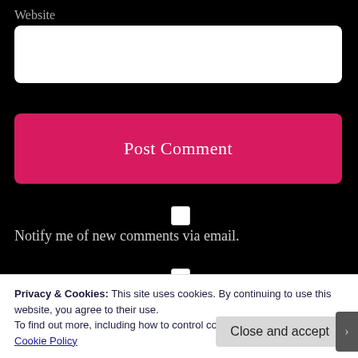Website
[Figure (screenshot): White input field for Website URL]
[Figure (screenshot): Post Comment button (pink/crimson, rounded)]
Notify me of new comments via email.
Notify me of new posts via email.
Privacy & Cookies: This site uses cookies. By continuing to use this website, you agree to their use.
To find out more, including how to control cookies, see here:
Cookie Policy
Close and accept